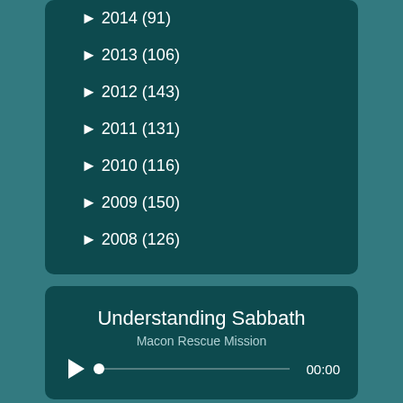► 2014 (91)
► 2013 (106)
► 2012 (143)
► 2011 (131)
► 2010 (116)
► 2009 (150)
► 2008 (126)
Understanding Sabbath
Macon Rescue Mission
00:00